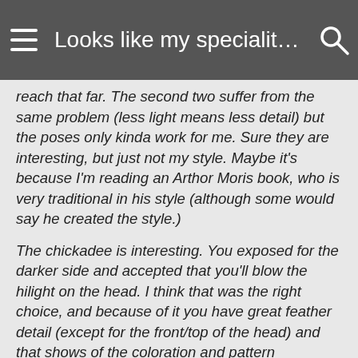Looks like my speciality is smal…
reach that far. The second two suffer from the same problem (less light means less detail) but the poses only kinda work for me. Sure they are interesting, but just not my style. Maybe it's because I'm reading an Arthor Moris book, who is very traditional in his style (although some would say he created the style.)
The chickadee is interesting. You exposed for the darker side and accepted that you'll blow the hilight on the head. I think that was the right choice, and because of it you have great feather detail (except for the front/top of the head) and that shows of the coloration and pattern beautifully. Very nice... a common bird (at least where I am) but done very well. I like it.
Thanks Eric for the elaborated critics, appreciate it.
I changed ways of shooting now with the DRebel. I tend